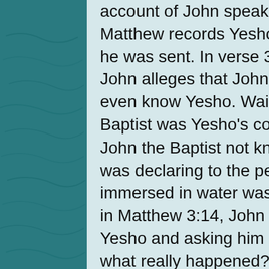account of John speaks for Yesho, while Matthew records Yesho himself stating why he was sent. In verse 31, the account of John alleges that John the Baptist did not even know Yesho. Wait! I thought John the Baptist was Yesho's cousin. How could John the Baptist not know him? Lastly John was declaring to the people that who he immersed in water was the son of Yeue, but in Matthew 3:14, John has a dialogue with Yesho and asking him to baptize him. So, what really happened? The dialogue between John the Baptise and the Pharisees is not recorded anywhere except in John 1:19-28